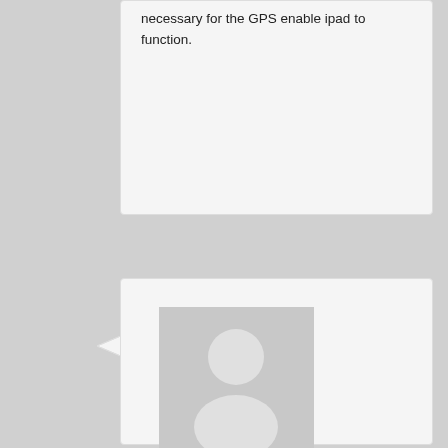necessary for the GPS enable ipad to function.
Jim Lewis on December 3, 2010 at 9:52 am said:
[Figure (illustration): Generic user avatar placeholder image showing a silhouette of a person in grey]
Just got the Elf GPS and can report that it does in fact work with SkyCharts on an iPod touch 4G. Very simple. Just plug it in and it works with no settings to adjust. Also plugged it in to my iPad and it works fine there with all location enabled apps. FWIW the internal GPS in these devices appears to be disabled when in Aircraft Mode whereas this device still provides position data.